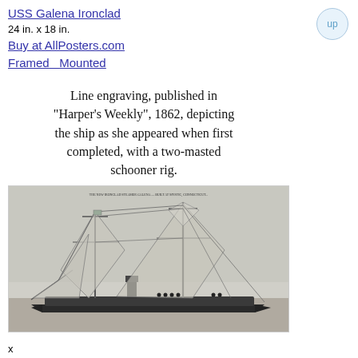USS Galena Ironclad
24 in. x 18 in.
Buy at AllPosters.com
Framed   Mounted
Line engraving, published in "Harper's Weekly", 1862, depicting the ship as she appeared when first completed, with a two-masted schooner rig.
[Figure (illustration): Line engraving of the USS Galena Ironclad ship with two masts and sails, published in Harper's Weekly, 1862]
x